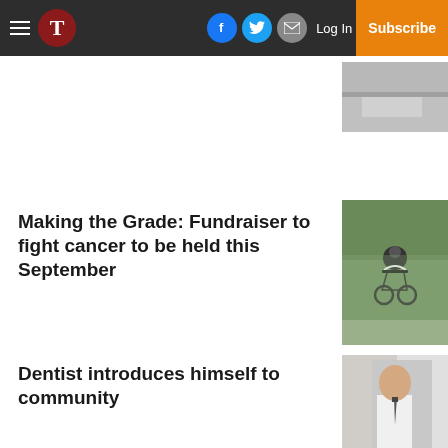Navigation bar with hamburger menu, T logo, Facebook, Twitter, Email icons, Log In, Subscribe
[Figure (photo): Partial road/cycling image top right]
Making the Grade: Fundraiser to fight cancer to be held this September
[Figure (photo): Cyclist in black and white cycling gear riding a road bicycle through a wooded area]
Dentist introduces himself to community
[Figure (photo): Person in white shirt and tie, partial view]